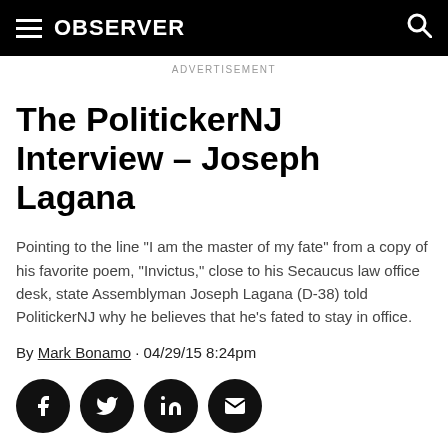OBSERVER
ADVERTISEMENT
The PolitickerNJ Interview – Joseph Lagana
Pointing to the line "I am the master of my fate" from a copy of his favorite poem, "Invictus," close to his Secaucus law office desk, state Assemblyman Joseph Lagana (D-38) told PolitickerNJ why he believes that he's fated to stay in office.
By Mark Bonamo · 04/29/15 8:24pm
[Figure (other): Social sharing buttons: Facebook, Twitter, LinkedIn, Email]